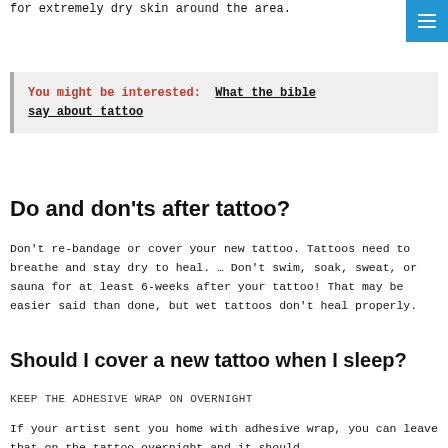for extremely dry skin around the area.
You might be interested: What the bible say about tattoo
Do and don'ts after tattoo?
Don't re-bandage or cover your new tattoo. Tattoos need to breathe and stay dry to heal. … Don't swim, soak, sweat, or sauna for at least 6-weeks after your tattoo! That may be easier said than done, but wet tattoos don't heal properly.
Should I cover a new tattoo when I sleep?
KEEP THE ADHESIVE WRAP ON OVERNIGHT
If your artist sent you home with adhesive wrap, you can leave that on the tattoo overnight and it should